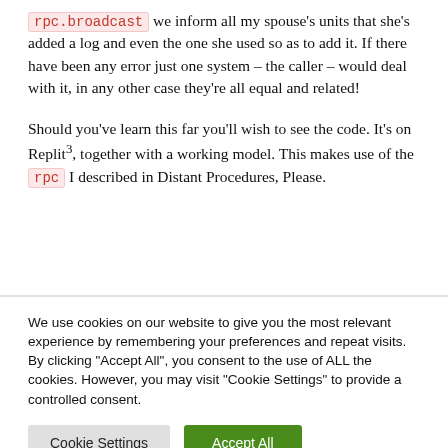rpc.broadcast we inform all my spouse's units that she's added a log and even the one she used so as to add it. If there have been any error just one system – the caller – would deal with it, in any other case they're all equal and related!
Should you've learn this far you'll wish to see the code. It's on Replit³, together with a working model. This makes use of the rpc I described in Distant Procedures, Please.
We use cookies on our website to give you the most relevant experience by remembering your preferences and repeat visits. By clicking "Accept All", you consent to the use of ALL the cookies. However, you may visit "Cookie Settings" to provide a controlled consent.